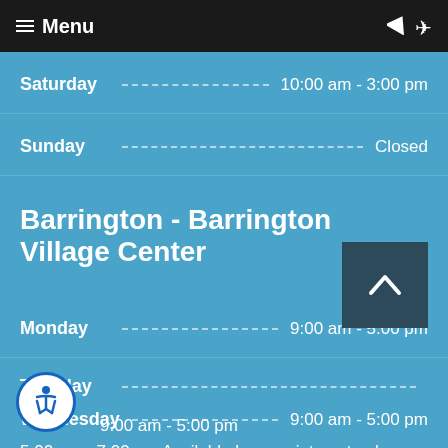≡ Menu
Saturday   10:00 am - 3:00 pm
Sunday   Closed
Barrington - Barrington Village Center
Monday   9:00 am - 5:00 pm
Tuesday   9:00 am - 5:00 pm   5:00 pm - 7:00 pm Available by appointment only
Wednesday   9:00 am - 5:00 pm